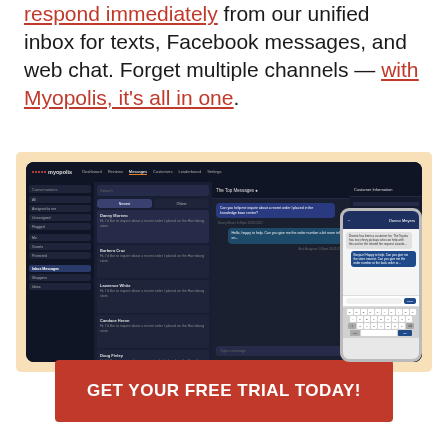respond immediately from our unified inbox for texts, Facebook messages, and web chat. Forget multiple channels — with Myopolis, it's all in one.
[Figure (screenshot): Screenshot of Myopolis unified messaging dashboard on a tablet, showing sidebar navigation, message list with customer names, chat conversation with message bubbles, and customer info panel. A mobile phone mockup is overlaid on the right showing the same chat interface with an on-screen keyboard.]
GET YOUR FREE TRIAL TODAY!